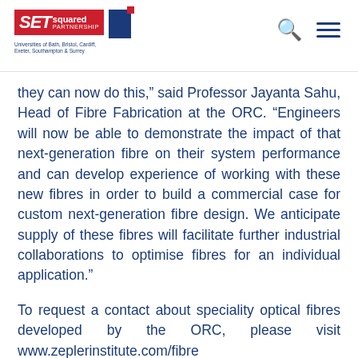SETsquared Partnership — Universities of Bath, Bristol, Cardiff, Exeter, Southampton & Surrey
they can now do this,” said Professor Jayanta Sahu, Head of Fibre Fabrication at the ORC. “Engineers will now be able to demonstrate the impact of that next-generation fibre on their system performance and can develop experience of working with these new fibres in order to build a commercial case for custom next-generation fibre design. We anticipate supply of these fibres will facilitate further industrial collaborations to optimise fibres for an individual application.”
To request a contact about speciality optical fibres developed by the ORC, please visit www.zeplerinstitute.com/fibre